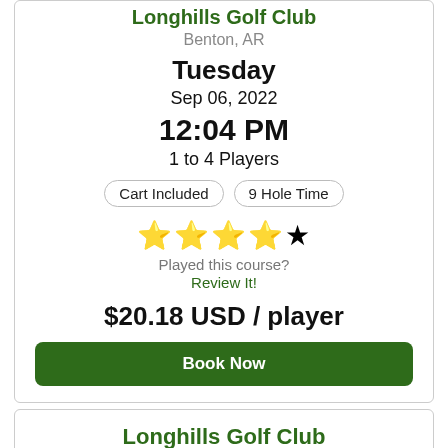Longhills Golf Club
Benton, AR
Tuesday
Sep 06, 2022
12:04 PM
1 to 4 Players
Cart Included
9 Hole Time
[Figure (other): 4 filled gold stars and 1 half-filled star (4/5 star rating)]
Played this course?
Review It!
$20.18 USD / player
Book Now
Longhills Golf Club
Benton, AR